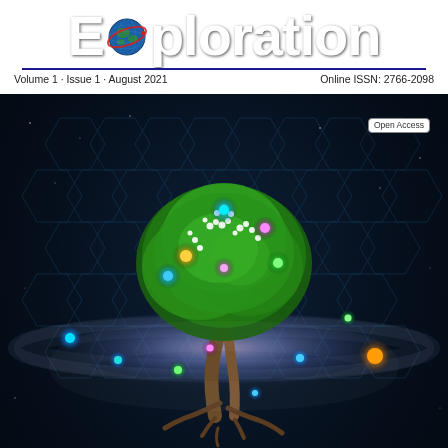Exploration
Open Access
Volume 1 · Issue 1 · August 2021
Online ISSN: 2766-2098
[Figure (illustration): A stylized tree with green foliage and white flowers growing from a swirling galaxy/nebula, set against a dark background with hexagonal grid pattern and glowing colored orbs representing scientific diversity. The roots extend into a misty galactic plane. Multiple colored glowing dots are scattered around representing various scientific disciplines.]